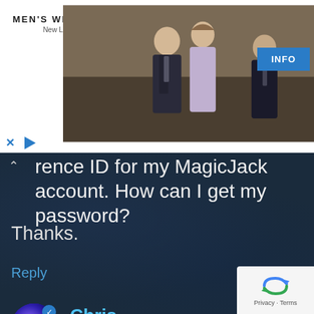[Figure (screenshot): Men's Wearhouse advertisement banner showing two people in formal wear and a man in a suit, with INFO button]
rence ID for my MagicJack account. How can I get my password?
Thanks.
Reply
Chris
April 26, 2015 at 5:06 pm
Tim,
[Figure (logo): reCAPTCHA badge with Privacy and Terms links]